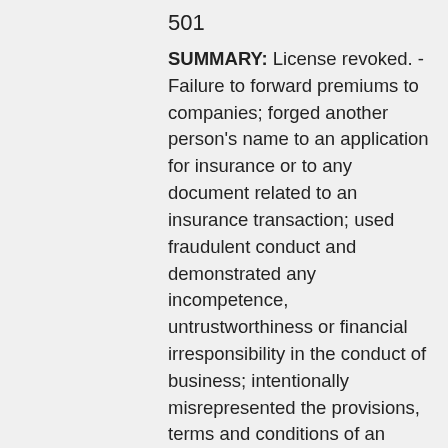501
SUMMARY: License revoked. - Failure to forward premiums to companies; forged another person's name to an application for insurance or to any document related to an insurance transaction; used fraudulent conduct and demonstrated any incompetence, untrustworthiness or financial irresponsibility in the conduct of business; intentionally misrepresented the provisions, terms and conditions of an insurance contract or application for insurance; misdemeanor conviction